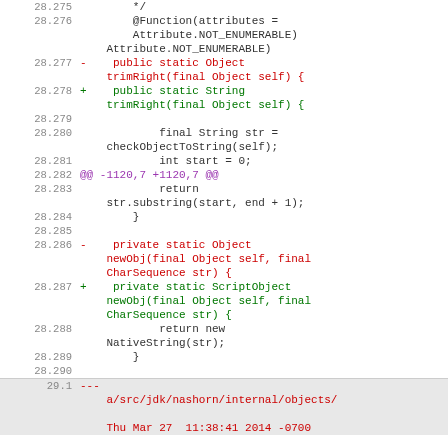Code diff view showing lines 28.275 through 29.1 of a Java source file
28.275     */
28.276     @Function(attributes = Attribute.NOT_ENUMERABLE)
28.277 -    public static Object trimRight(final Object self) {
28.278 +    public static String trimRight(final Object self) {
28.279 (empty)
28.280         final String str = checkObjectToString(self);
28.281         int start = 0;
28.282 @@ -1120,7 +1120,7 @@
28.283         return str.substring(start, end + 1);
28.284         }
28.285 (empty)
28.286 -    private static Object newObj(final Object self, final CharSequence str) {
28.287 +    private static ScriptObject newObj(final Object self, final CharSequence str) {
28.288         return new NativeString(str);
28.289         }
28.290 (empty)
29.1 --- a/src/jdk/nashorn/internal/objects/  Thu Mar 27  11:38:41 2014 -0700